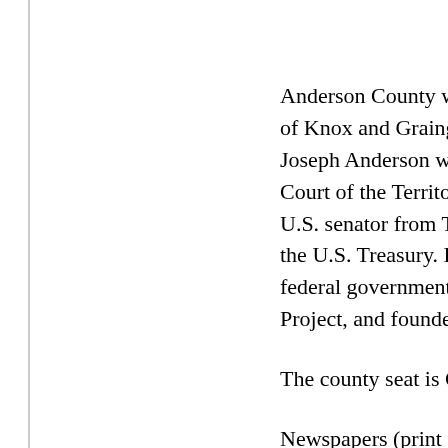Anderson County was of Knox and Grainger Joseph Anderson who Court of the Territory U.S. senator from Ten the U.S. Treasury. Du federal government in Project, and founded
The county seat is Cli
Newspapers (print an The Oak Ridge Obse County
Anderson County Pe
Government: Anders
Business: Anderson